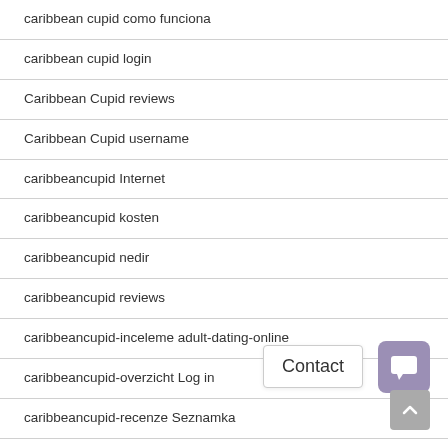caribbean cupid como funciona
caribbean cupid login
Caribbean Cupid reviews
Caribbean Cupid username
caribbeancupid Internet
caribbeancupid kosten
caribbeancupid nedir
caribbeancupid reviews
caribbeancupid-inceleme adult-dating-online
caribbeancupid-overzicht Log in
caribbeancupid-recenze Seznamka
carlsbad eros escort
carlsbad escort